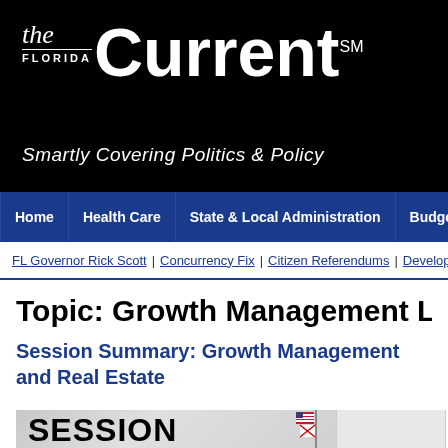[Figure (logo): The Florida Current logo - 'the FLORIDA Current' with tagline 'Smartly Covering Politics & Policy' on black background]
Home | Health Care | State & Local Administration | Budget & T
FL Governor Rick Scott | Concurrency Fix | Citizen Referendums | Develop
Topic: Growth Management Law
Session Summary: Growth Management and Real Estate
[Figure (photo): Session image showing the word SESSION with Florida state flags in background]